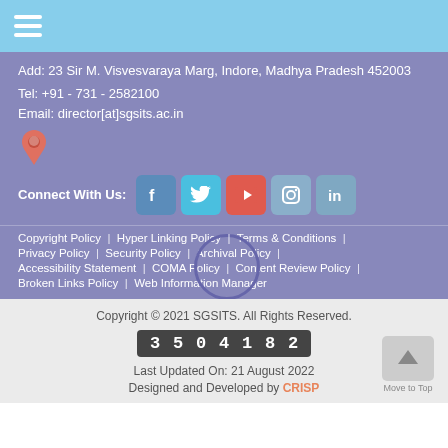Add: 23 Sir M. Visvesvaraya Marg, Indore, Madhya Pradesh 452003
Tel: +91 - 731 - 2582100
Email: director[at]sgsits.ac.in
[Figure (infographic): Location pin icon in salmon/orange color]
Connect With Us: [Facebook] [Twitter] [YouTube] [Instagram] [LinkedIn]
Copyright Policy  |  Hyper Linking Policy  |  Terms & Conditions  |  Privacy Policy  |  Security Policy  |  Archival Policy  |  Accessibility Statement  |  COMA Policy  |  Content Review Policy  |  Broken Links Policy  |  Web Information Manager
Copyright © 2021 SGSITS. All Rights Reserved.
3504182
Last Updated On: 21 August 2022
Designed and Developed by CRISP
[Figure (other): Move to Top button with upward arrow icon]